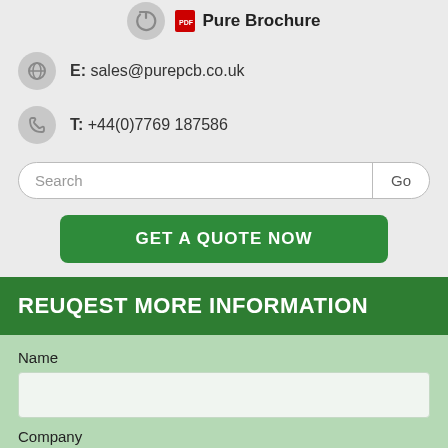Pure Brochure
E: sales@purepcb.co.uk
T: +44(0)7769 187586
Search / Go
GET A QUOTE NOW
REUQEST MORE INFORMATION
Name
Company